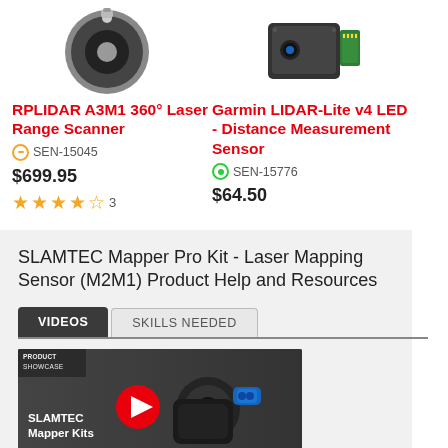[Figure (photo): RPLIDAR A3M1 360 Laser Range Scanner product photo - circular black scanner]
RPLIDAR A3M1 360° Laser Range Scanner
SEN-15045
$699.95
3 stars rating (3 reviews)
[Figure (photo): Garmin LIDAR-Lite v4 LED Distance Measurement Sensor product photo - black rectangular sensor with green circuit board]
Garmin LIDAR-Lite v4 LED - Distance Measurement Sensor
SEN-15776
$64.50
SLAMTEC Mapper Pro Kit - Laser Mapping Sensor (M2M1) Product Help and Resources
VIDEOS
SKILLS NEEDED
[Figure (screenshot): Video thumbnail showing SLAMTEC Mapper Kits product showcase with play button overlay, featuring black sensor hardware and blue sensor]